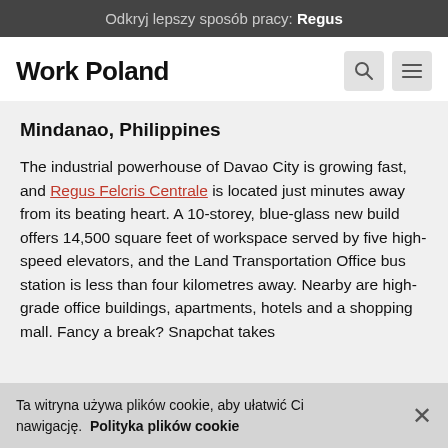Odkryj lepszy sposób pracy: Regus
Work Poland
Mindanao, Philippines
The industrial powerhouse of Davao City is growing fast, and Regus Felcris Centrale is located just minutes away from its beating heart. A 10-storey, blue-glass new build offers 14,500 square feet of workspace served by five high-speed elevators, and the Land Transportation Office bus station is less than four kilometres away. Nearby are high-grade office buildings, apartments, hotels and a shopping mall. Fancy a break? Snapchat takes
Ta witryna używa plików cookie, aby ułatwić Ci nawigację. Polityka plików cookie